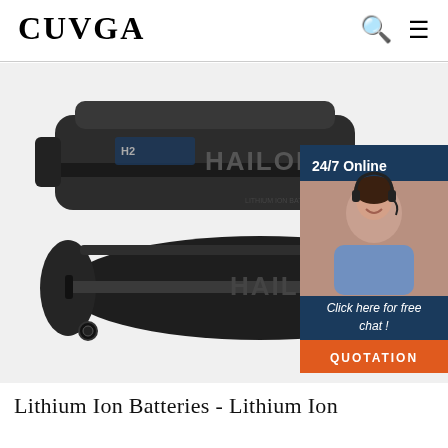CUVGA
[Figure (photo): Two Hailong lithium ion battery packs for electric bikes shown against a white background. The top battery is a rectangular dark grey/black box shape with 'HAILONG' branding. The bottom battery is a more streamlined torpedo/dolphin shape, also dark grey/black with 'HAILONG' branding. A customer service chat widget is overlaid on the right side showing '24/7 Online', a female customer service agent with a headset, 'Click here for free chat!' text, and an orange 'QUOTATION' button.]
Lithium Ion Batteries - Lithium Ion